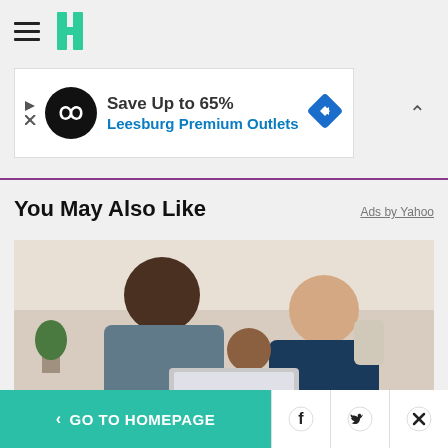Huffington Post navigation header with hamburger menu and logo
[Figure (other): Advertisement banner: Save Up to 65% Leesburg Premium Outlets]
Save Up to 65% Leesburg Premium Outlets
You May Also Like
Ads by Yahoo
[Figure (photo): A man and woman with a child looking at a laptop computer in a kitchen setting]
< GO TO HOMEPAGE